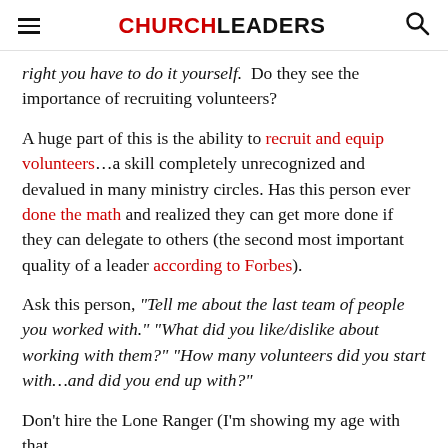CHURCHLEADERS
right you have to do it yourself.  Do they see the importance of recruiting volunteers?
A huge part of this is the ability to recruit and equip volunteers…a skill completely unrecognized and devalued in many ministry circles. Has this person ever done the math and realized they can get more done if they can delegate to others (the second most important quality of a leader according to Forbes).
Ask this person, "Tell me about the last team of people you worked with." "What did you like/dislike about working with them?" "How many volunteers did you start with…and did you end up with?"
Don't hire the Lone Ranger (I'm showing my age with that